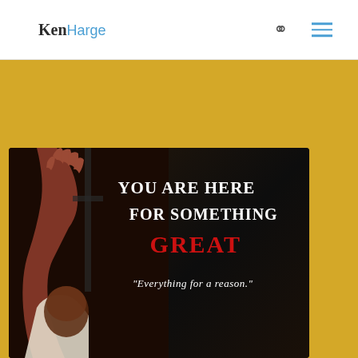KenHarge
[Figure (photo): A promotional book cover image on a dark background showing a man with his hand raised, with text overlays reading 'YOU ARE HERE FOR SOMETHING GREAT' and a quote 'Everything for a reason.' The image is set against a golden/yellow background section of the webpage.]